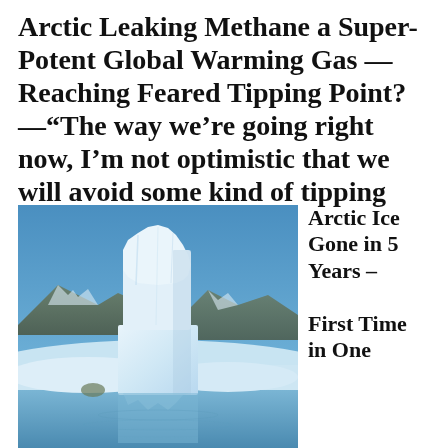Arctic Leaking Methane a Super-Potent Global Warming Gas — Reaching Feared Tipping Point? —"The way we're going right now, I'm not optimistic that we will avoid some kind of tipping point."
[Figure (photo): Photo of a large column of Arctic ice/glacier standing upright in a snowy, icy landscape with blue sky and mountains in the background, reflected in water below.]
Arctic Ice Gone in 5 Years – First Time in One